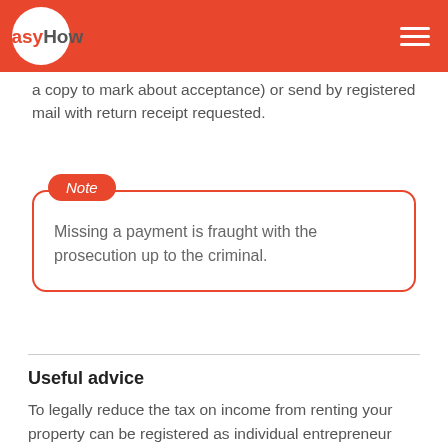EasyHow
a copy to mark about acceptance) or send by registered mail with return receipt requested.
Note
Missing a payment is fraught with the prosecution up to the criminal.
Useful advice
To legally reduce the tax on income from renting your property can be registered as individual entrepreneur and going to the simplified system of taxation with "income". In this case, the tax will be